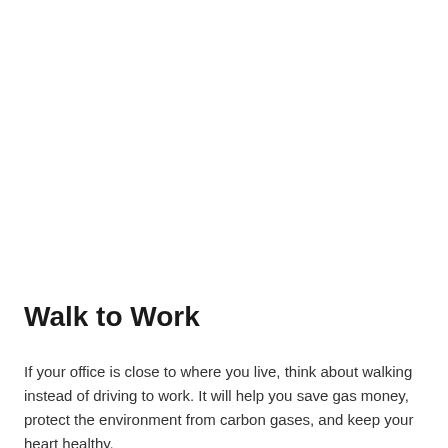Walk to Work
If your office is close to where you live, think about walking instead of driving to work. It will help you save gas money, protect the environment from carbon gases, and keep your heart healthy.